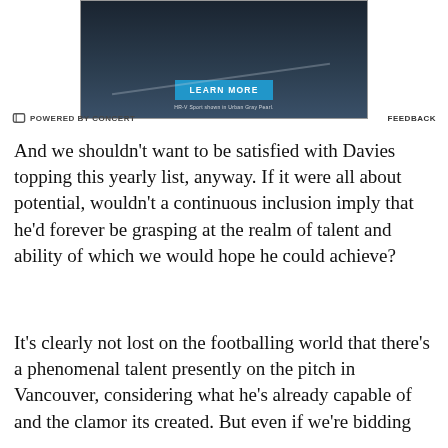[Figure (photo): Advertisement image showing a dark-themed Honda HR-V Sport in Urban Gray Pearl on a road, with a blue 'LEARN MORE' button and small caption text 'HR-V Sport shown in Urban Gray Pearl.']
POWERED BY CONCERT   FEEDBACK
And we shouldn't want to be satisfied with Davies topping this yearly list, anyway. If it were all about potential, wouldn't a continuous inclusion imply that he'd forever be grasping at the realm of talent and ability of which we would hope he could achieve?
It's clearly not lost on the footballing world that there's a phenomenal talent presently on the pitch in Vancouver, considering what he's already capable of and the clamor its created. But even if we're bidding